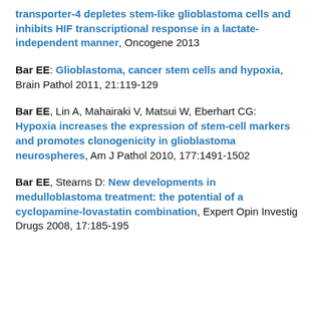transporter-4 depletes stem-like glioblastoma cells and inhibits HIF transcriptional response in a lactate-independent manner, Oncogene 2013
Bar EE: Glioblastoma, cancer stem cells and hypoxia, Brain Pathol 2011, 21:119-129
Bar EE, Lin A, Mahairaki V, Matsui W, Eberhart CG: Hypoxia increases the expression of stem-cell markers and promotes clonogenicity in glioblastoma neurospheres, Am J Pathol 2010, 177:1491-1502
Bar EE, Stearns D: New developments in medulloblastoma treatment: the potential of a cyclopamine-lovastatin combination, Expert Opin Investig Drugs 2008, 17:185-195